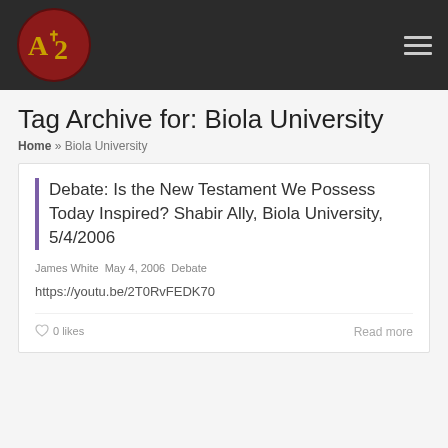AOT2 [logo] | navigation menu
Tag Archive for: Biola University
Home » Biola University
Debate: Is the New Testament We Possess Today Inspired? Shabir Ally, Biola University, 5/4/2006
James White  May 4, 2006  Debate
https://youtu.be/2T0RvFEDK70
0 likes    Read more